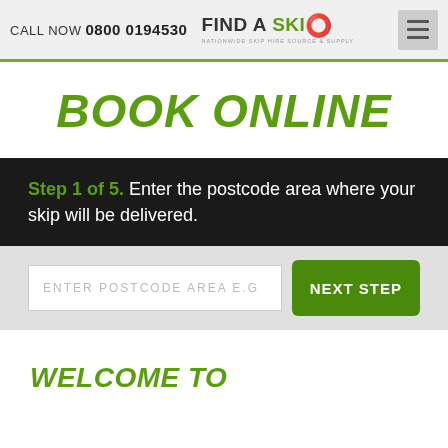CALL NOW 0800 0194530 | FIND A SKIP — NATIONWIDE SKIP HIRE SOURCE & SUPPLY
BOOK ONLINE
Step 1 of 5. Enter the postcode area where your skip will be delivered.
ENTER POSTCODE AREA E.G
NEXT STEP
WELCOME TO